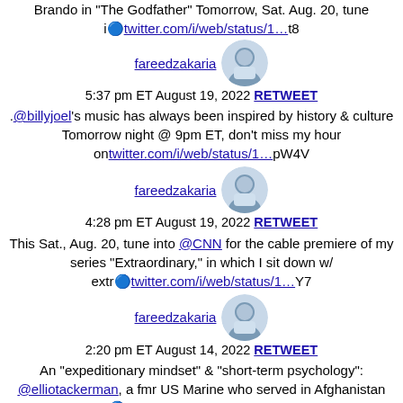Brando in "The Godfather" Tomorrow, Sat. Aug. 20, tune i🔷twitter.com/i/web/status/1…t8
fareedzakaria 5:37 pm ET August 19, 2022 RETWEET .@billyjoel's music has always been inspired by history & culture Tomorrow night @ 9pm ET, don't miss my hour ontwitter.com/i/web/status/1…pW4V
fareedzakaria 4:28 pm ET August 19, 2022 RETWEET This Sat., Aug. 20, tune into @CNN for the cable premiere of my series "Extraordinary," in which I sit down w/ extr🔷twitter.com/i/web/status/1…Y7
fareedzakaria 2:20 pm ET August 14, 2022 RETWEET An "expeditionary mindset" & "short-term psychology": @elliotackerman, a fmr US Marine who served in Afghanistan &🔷twitter.com/i/web/status/1…IN
fareedzakaria 2:15 pm ET August 14, 2022 RETWEET Former Afghan Pres. @ashrafghani on Afghanistan's future—and his part three of our exclusive interview from…